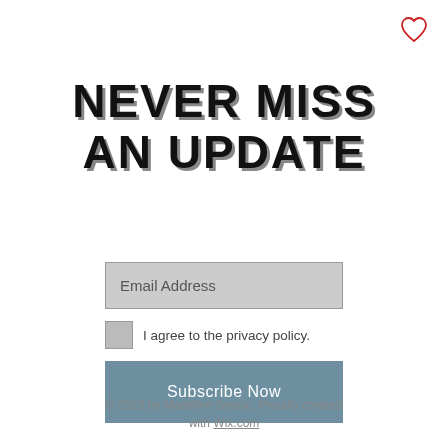[Figure (illustration): Red heart outline icon in top right corner]
NEVER MISS AN UPDATE
Email Address
I agree to the privacy policy.
Subscribe Now
© 2023 by Madeline Sepcic. Proudly created with Wix.com